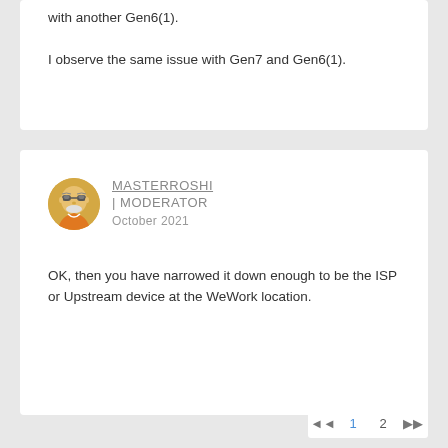with another Gen6(1). I observe the same issue with Gen7 and Gen6(1).
[Figure (illustration): Circular avatar of MasterRoshi character wearing sunglasses and an orange robe]
MASTERROSHI | MODERATOR
October 2021
OK, then you have narrowed it down enough to be the ISP or Upstream device at the WeWork location.
◄◄  1  2  ▶▶